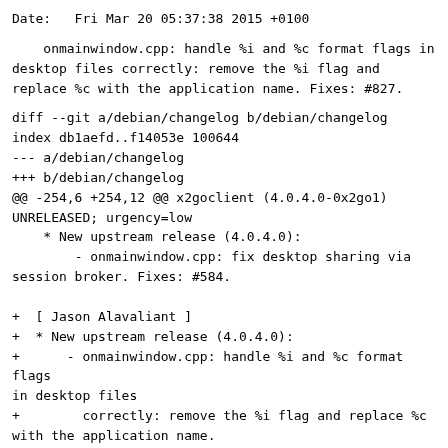Date:   Fri Mar 20 05:37:38 2015 +0100
onmainwindow.cpp: handle %i and %c format flags in desktop files correctly: remove the %i flag and replace %c with the application name. Fixes: #827.
diff --git a/debian/changelog b/debian/changelog
index db1aefd..f14053e 100644
--- a/debian/changelog
+++ b/debian/changelog
@@ -254,6 +254,12 @@ x2goclient (4.0.4.0-0x2go1) UNRELEASED; urgency=low
     * New upstream release (4.0.4.0):
         - onmainwindow.cpp: fix desktop sharing via session broker. Fixes: #584.

+   [ Jason Alavaliant ]
+   * New upstream release (4.0.4.0):
+       - onmainwindow.cpp: handle %i and %c format flags in desktop files
+         correctly: remove the %i flag and replace %c with the application name.
+         Fixes: #827.